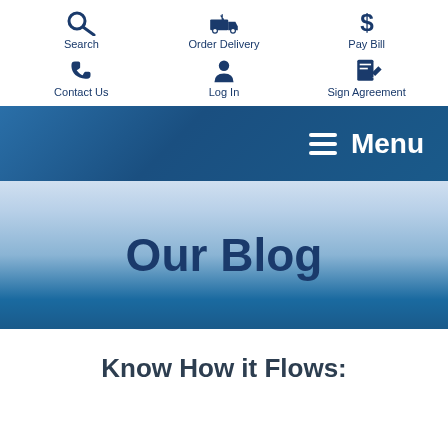[Figure (screenshot): Website navigation header with 6 icon links: Search, Order Delivery, Pay Bill, Contact Us, Log In, Sign Agreement]
[Figure (screenshot): Blue navigation bar with hamburger menu icon and Menu label]
[Figure (screenshot): Light blue gradient hero banner with 'Our Blog' title]
Know How it Flows: